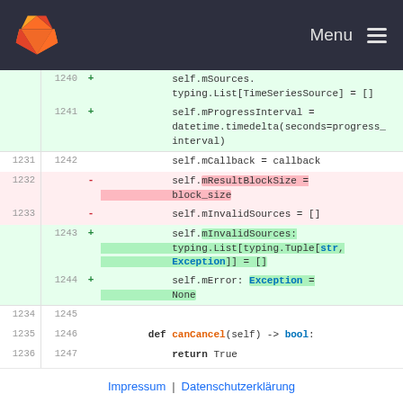GitLab — Menu
Code diff showing changes to a Python file. Lines 1240-1249 shown with additions (+) and deletions (-). Added lines include mSources typing.List[TimeSeriesSource] = [], mProgressInterval = datetime.timedelta(seconds=progress_interval), mInvalidSources: typing.List[typing.Tuple[str, Exception]] = [], mError: Exception = None. Removed lines include mResultBlockSize = block_size, mInvalidSources = []. Also shows def canCancel(self) -> bool: return True and context hunk @@ -1238,32 +1249,42 @@ class TimeSeriesLoadingTask(QgsTask):
Impressum | Datenschutzerklärung